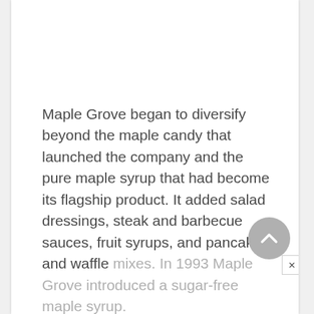Maple Grove began to diversify beyond the maple candy that launched the company and the pure maple syrup that had become its flagship product. It added salad dressings, steak and barbecue sauces, fruit syrups, and pancake and waffle mixes. In 1993 Maple Grove introduced a sugar-free maple syrup.